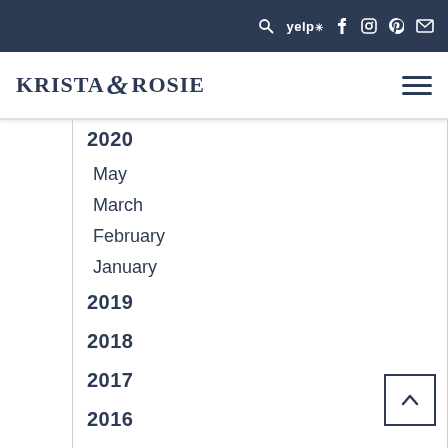KRISTA & ROSIE — navigation bar with search, yelp, facebook, instagram, pinterest, mail icons and hamburger menu
2020
May
March
February
January
2019
2018
2017
2016
2015
2014
2013
2012
2011